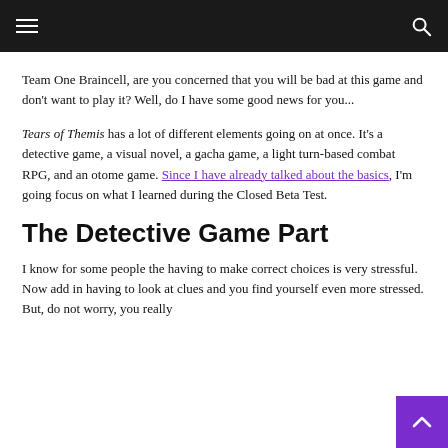Navigation header with hamburger menu and search icon
Team One Braincell, are you concerned that you will be bad at this game and don't want to play it? Well, do I have some good news for you...
Tears of Themis has a lot of different elements going on at once. It's a detective game, a visual novel, a gacha game, a light turn-based combat RPG, and an otome game. Since I have already talked about the basics, I'm going focus on what I learned during the Closed Beta Test.
The Detective Game Part
I know for some people the having to make correct choices is very stressful. Now add in having to look at clues and you find yourself even more stressed. But, do not worry, you really